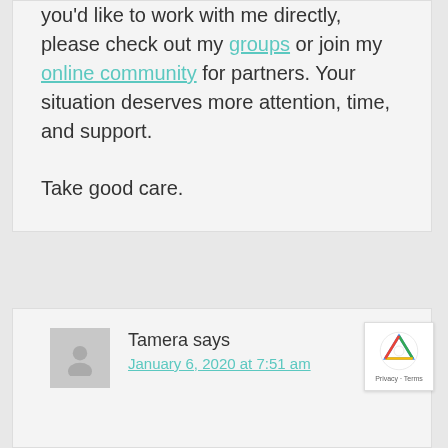you'd like to work with me directly, please check out my groups or join my online community for partners. Your situation deserves more attention, time, and support.

Take good care.
Tamera says
January 6, 2020 at 7:51 am